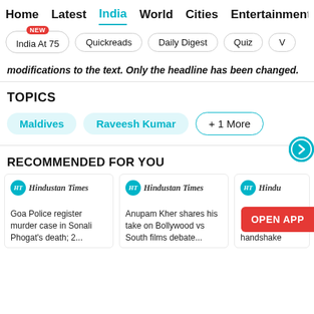Home  Latest  India  World  Cities  Entertainment
India At 75 (NEW)
Quickreads
Daily Digest
Quiz
modifications to the text. Only the headline has been changed.
TOPICS
Maldives  Raveesh Kumar  + 1 More
RECOMMENDED FOR YOU
Goa Police register murder case in Sonali Phogat's death; 2...
Anupam Kher shares his take on Bollywood vs South films debate...
PSL team t Kohli, Bab handshake